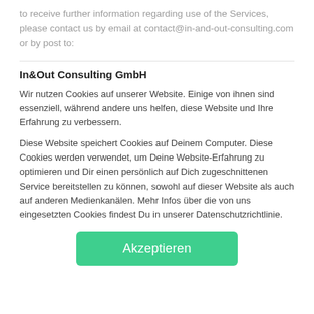to receive further information regarding use of the Services, please contact us by email at contact@in-and-out-consulting.com or by post to:
In&Out Consulting GmbH
Wir nutzen Cookies auf unserer Website. Einige von ihnen sind essenziell, während andere uns helfen, diese Website und Ihre Erfahrung zu verbessern.
Diese Website speichert Cookies auf Deinem Computer. Diese Cookies werden verwendet, um Deine Website-Erfahrung zu optimieren und Dir einen persönlich auf Dich zugeschnittenen Service bereitstellen zu können, sowohl auf dieser Website als auch auf anderen Medienkanälen. Mehr Infos über die von uns eingesetzten Cookies findest Du in unserer Datenschutzrichtlinie.
Akzeptieren